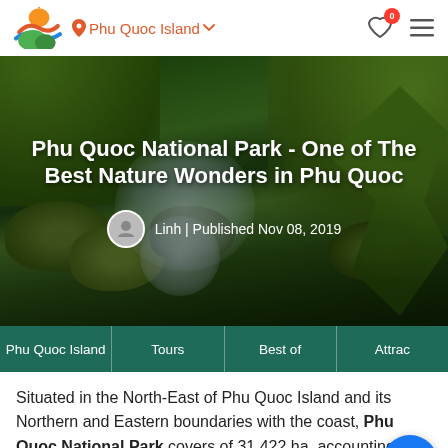Phu Quoc Island
[Figure (photo): Hero image of a lush green forest stream/waterfall with moss-covered rocks and fern fronds at Phu Quoc National Park]
Phu Quoc National Park - One of The Best Nature Wonders in Phu Quoc
Linh | Published Nov 08, 2019
Phu Quoc Island | Tours | Best of | Attrac
Situated in the North-East of Phu Quoc Island and its Northern and Eastern boundaries with the coast, Phu Quoc National Park covers of 31,422 ha, accounting for 70% of the area of Phu Quoc Island